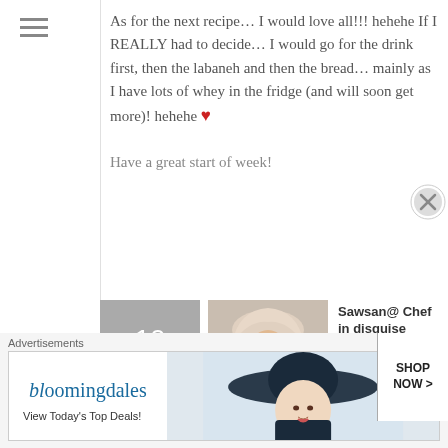As for the next recipe... I would love all!!! hehehe If I REALLY had to decide... I would go for the drink first, then the labaneh and then the bread... mainly as I have lots of whey in the fridge (and will soon get more)! hehehe ❤
Have a great start of week!
Sawsan@ Chef in disguise on April 9, 2012 at 7:42 AM
Reply
Like
I think the exact same thought
[Figure (photo): Avatar photo of Sawsan, a woman wearing a headscarf]
Advertisements
[Figure (other): Bloomingdale's advertisement banner: 'bloomingdales View Today's Top Deals! SHOP NOW >']